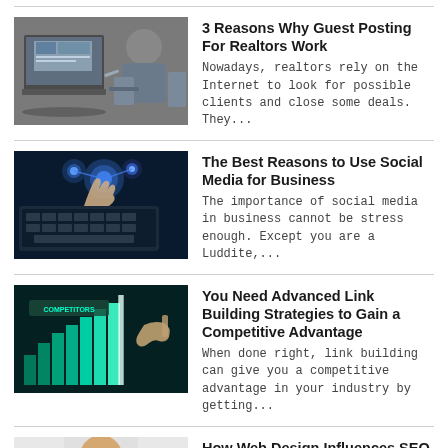[Figure (photo): Person working at a desk with computer monitors]
3 Reasons Why Guest Posting For Realtors Work
Nowadays, realtors rely on the Internet to look for possible clients and close some deals. They...
[Figure (photo): Hands touching glowing digital interface above a laptop keyboard with blue lighting]
The Best Reasons to Use Social Media for Business
The importance of social media in business cannot be stress enough. Except you are a Luddite,...
[Figure (photo): Hand pointing to glowing bar chart with COMPETITORS text, dark teal background]
You Need Advanced Link Building Strategies to Gain a Competitive Advantage
When done right, link building can give you a competitive advantage in your industry by getting...
[Figure (photo): Person in suit holding SEO text with icons, lightbulb and lock visible]
How Web Design Influences SEO
There is no doubt that the modern world cares about the outer look of the things...